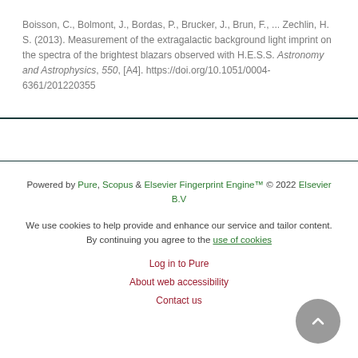Boisson, C., Bolmont, J., Bordas, P., Brucker, J., Brun, F., ... Zechlin, H. S. (2013). Measurement of the extragalactic background light imprint on the spectra of the brightest blazars observed with H.E.S.S. Astronomy and Astrophysics, 550, [A4]. https://doi.org/10.1051/0004-6361/201220355
Powered by Pure, Scopus & Elsevier Fingerprint Engine™ © 2022 Elsevier B.V
We use cookies to help provide and enhance our service and tailor content. By continuing you agree to the use of cookies
Log in to Pure
About web accessibility
Contact us